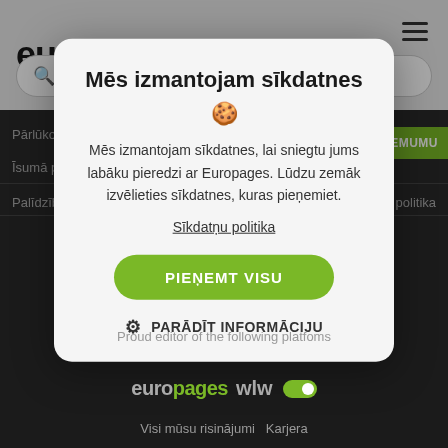[Figure (screenshot): Europages website with cookie consent modal overlay. Background shows the Europages logo (dark 'euro' + green 'pages'), a search bar with placeholder text 'Uzņēmums, Aktivitāte, Produkts', dark background with partial navigation links, and a white/light grey modal dialog.]
Mēs izmantojam sīkdatnes
Mēs izmantojam sīkdatnes, lai sniegtu jums labāku pieredzi ar Europages. Lūdzu zemāk izvēlieties sīkdatnes, kuras pieņemiet.
Sīkdatņu politika
PIEŅEMT VISU
PARĀDĪT INFORMĀCIJU
Proud editor of the following platfoms
Visi mūsu risinājumi   Karjera